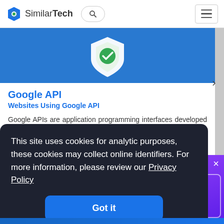SimilarTech
[Figure (logo): SimilarTech logo with blue hexagon icon and search button and hamburger menu]
[Figure (illustration): Blue card banner with Google shield/checkmark icon]
Google API
Websites Using Google API
Google APIs are application programming interfaces developed by Google which allow communication with Google Services and their integration to other services.
This site uses cookies for analytic purposes, these cookies may collect online identifiers. For more information, please review our Privacy Policy
Got it